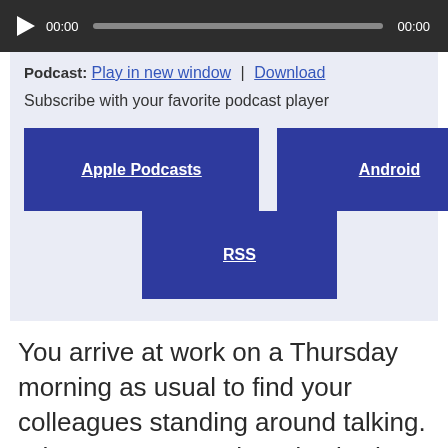[Figure (other): Audio player bar with play button, time display 00:00, progress bar, and end time 00:00 on dark background]
Podcast: Play in new window | Download
Subscribe with your favorite podcast player
Apple Podcasts
Android
RSS
You arrive at work on a Thursday morning as usual to find your colleagues standing around talking. When you approach and ask what's going on you are shocked to learn that your supervisor has just asked to take an extended